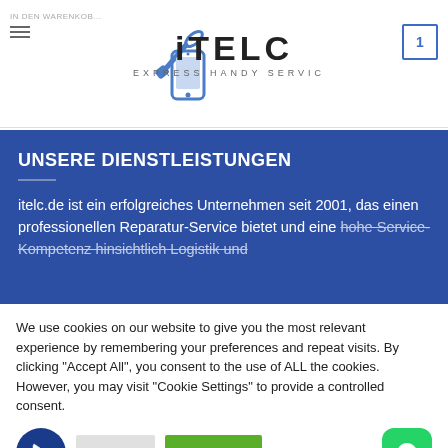IN DEN WARENKORB | ITELC EXPRESS HANDY SERVICE | 1
UNSERE DIENSTLEISTUNGEN
itelc.de ist ein erfolgreiches Unternehmen seit 2001, das einen professionellen Reparatur-Service bietet und eine hohe Service-Kompetenz hinsichtlich Logistik und
We use cookies on our website to give you the most relevant experience by remembering your preferences and repeat visits. By clicking "Accept All", you consent to the use of ALL the cookies. However, you may visit "Cookie Settings" to provide a controlled consent.